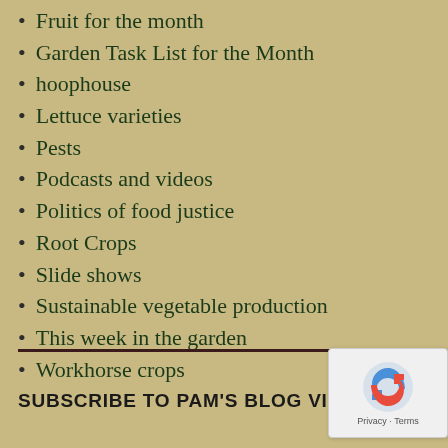Fruit for the month
Garden Task List for the Month
hoophouse
Lettuce varieties
Pests
Podcasts and videos
Politics of food justice
Root Crops
Slide shows
Sustainable vegetable production
This week in the garden
Workhorse crops
SUBSCRIBE TO PAM'S BLOG VIA EMAIL